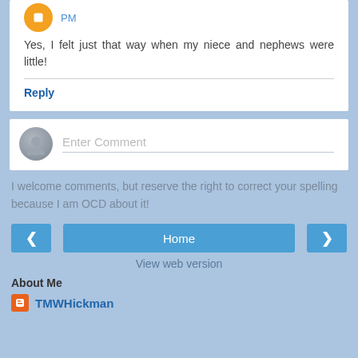PM
Yes, I felt just that way when my niece and nephews were little!
Reply
Enter Comment
I welcome comments, but reserve the right to correct your spelling because I am OCD about it!
Home
View web version
About Me
TMWHickman